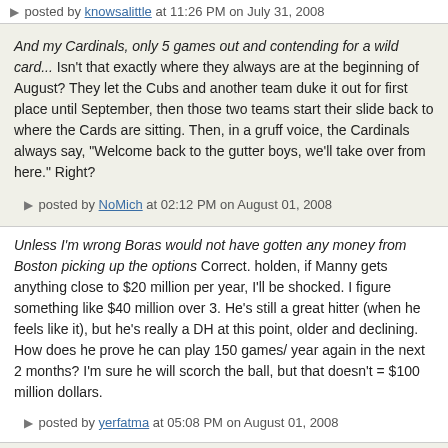posted by knowsalittle at 11:26 PM on July 31, 2008
And my Cardinals, only 5 games out and contending for a wild card... Isn't that exactly where they always are at the beginning of August? They let the Cubs and another team duke it out for first place until September, then those two teams start their slide back to where the Cards are sitting. Then, in a gruff voice, the Cardinals always say, "Welcome back to the gutter boys, we'll take over from here." Right?
posted by NoMich at 02:12 PM on August 01, 2008
Unless I'm wrong Boras would not have gotten any money from Boston picking up the options Correct. holden, if Manny gets anything close to $20 million per year, I'll be shocked. I figure something like $40 million over 3. He's still a great hitter (when he feels like it), but he's really a DH at this point, older and declining. How does he prove he can play 150 games/ year again in the next 2 months? I'm sure he will scorch the ball, but that doesn't = $100 million dollars.
posted by yerfatma at 05:08 PM on August 01, 2008
...if Manny gets anything close to $20 million per year, I'll be shocked Lets take a few disparate datapoints and see where they intersect.
Frank McCourt has a Red Sox fetish